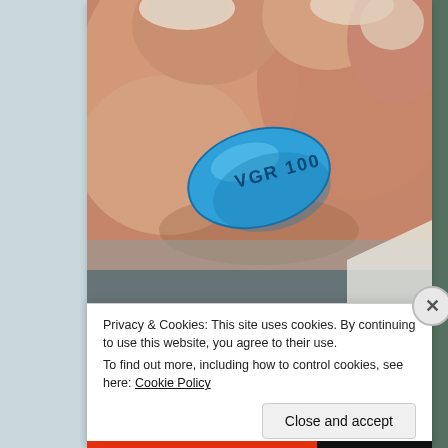[Figure (photo): Close-up photo of fingers holding a blue diamond-shaped pill stamped with 'VGR 100' (Viagra 100mg)]
Men, You Don't Need the Blue Pill if You Do This (Read Now)
Privacy & Cookies: This site uses cookies. By continuing to use this website, you agree to their use.
To find out more, including how to control cookies, see here: Cookie Policy
Close and accept